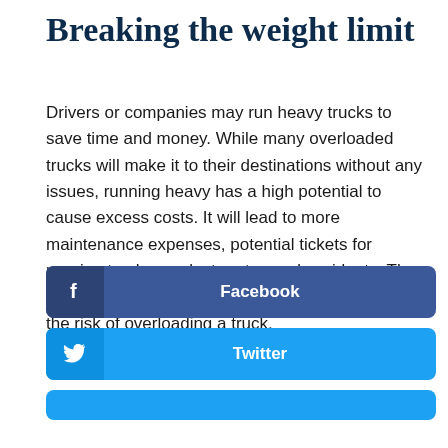Breaking the weight limit
Drivers or companies may run heavy trucks to save time and money. While many overloaded trucks will make it to their destinations without any issues, running heavy has a high potential to cause excess costs. It will lead to more maintenance expenses, potential tickets for running too heavy, lost routes and accidents. The costs from these issues make it not worth it to take the risk of overloading a truck.
[Figure (infographic): Facebook share button — dark blue rounded rectangle with Facebook 'f' icon on left and bold white text 'Facebook' centered]
[Figure (infographic): Twitter share button — blue rounded rectangle with Twitter bird icon on left and bold white text 'Twitter' centered]
[Figure (infographic): Third social share button — partially visible blue rounded rectangle at bottom of page]